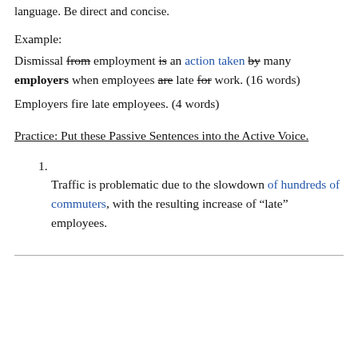Reduce any redundant, unnecessary, or over-inflated language. Be direct and concise.
Example:
Dismissal from employment is an action taken by many employers when employees are late for work. (16 words)
Employers fire late employees. (4 words)
Practice: Put these Passive Sentences into the Active Voice.
Traffic is problematic due to the slowdown of hundreds of commuters, with the resulting increase of “late” employees.